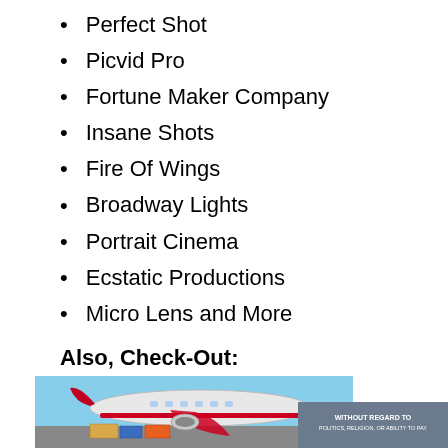Perfect Shot
Picvid Pro
Fortune Maker Company
Insane Shots
Fire Of Wings
Broadway Lights
Portrait Cinema
Ecstatic Productions
Micro Lens and More
Also, Check-Out:
Graphic Design Business Names
[Figure (photo): Cargo airplane being loaded at an airport with a gray advertisement banner overlay reading 'WITHOUT REGARD TO POLITICS, RELIGION, OR ABILITY TO PAY']